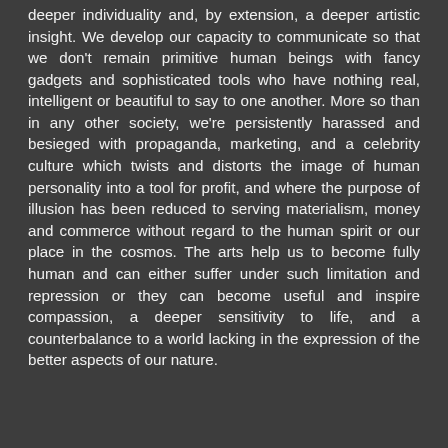deeper individuality and, by extension, a deeper artistic insight. We develop our capacity to communicate so that we don't remain primitive human beings with fancy gadgets and sophisticated tools who have nothing real, intelligent or beautiful to say to one another. More so than in any other society, we're persistently harassed and besieged with propaganda, marketing, and a celebrity culture which twists and distorts the image of human personality into a tool for profit, and where the purpose of illusion has been reduced to serving materialism, money and commerce without regard to the human spirit or our place in the cosmos. The arts help us to become fully human and can either suffer under such limitation and repression or they can become useful and inspire compassion, a deeper sensitivity to life, and a counterbalance to a world lacking in the expression of the better aspects of our nature.